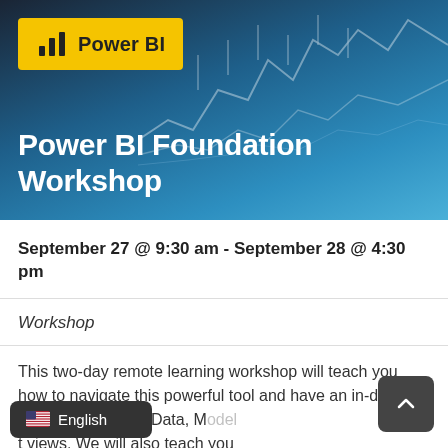[Figure (screenshot): Hero banner with Power BI logo badge on yellow background, financial chart lines in background, blue gradient overlay]
Power BI Foundation Workshop
September 27 @ 9:30 am - September 28 @ 4:30 pm
Workshop
This two-day remote learning workshop will teach you how to navigate this powerful tool and have an in-depth understanding of Power BI's Data, Model and views. We will also teach you